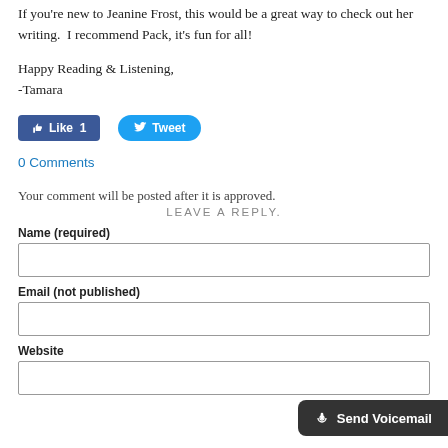If you're new to Jeanine Frost, this would be a great way to check out her writing.  I recommend Pack, it's fun for all!
Happy Reading & Listening,
-Tamara
[Figure (other): Facebook Like button showing count of 1, and Twitter Tweet button]
0 Comments
Your comment will be posted after it is approved.
LEAVE A REPLY.
Name (required)
Email (not published)
Website
[Figure (other): Send Voicemail button (dark rounded rectangle)]